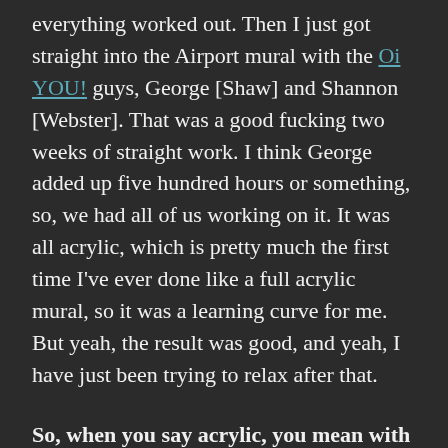everything worked out. Then I just got straight into the Airport mural with the Oi YOU! guys, George [Shaw] and Shannon [Webster]. That was a good fucking two weeks of straight work. I think George added up five hundred hours or something, so, we had all of us working on it. It was all acrylic, which is pretty much the first time I've ever done like a full acrylic mural, so it was a learning curve for me. But yeah, the result was good, and yeah, I have just been trying to relax after that.
So, when you say acrylic, you mean with brushes rather than cans?
Yeah, brushes, rollers, trying to learn new